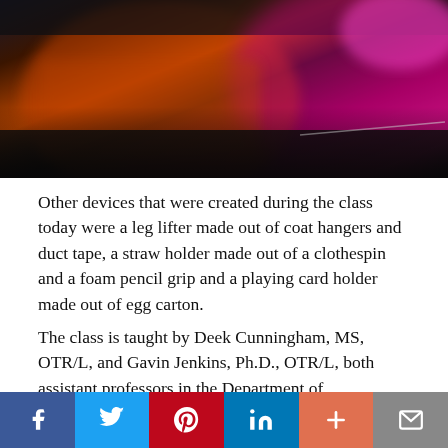[Figure (photo): Blurred photo of a stage or bar area with warm orange and pink/magenta lighting against a dark surface]
Other devices that were created during the class today were a leg lifter made out of coat hangers and duct tape, a straw holder made out of a clothespin and a foam pencil grip and a playing card holder made out of egg carton.
The class is taught by Deek Cunningham, MS, OTR/L, and Gavin Jenkins, Ph.D., OTR/L, both assistant professors in the Department of Occupational Therapy. According to Cunningham, this element of the course is designed to help students recognize that there are non-conventional ways to make a difference in people's lives right now:
f  [Twitter]  p  in  +  [mail]